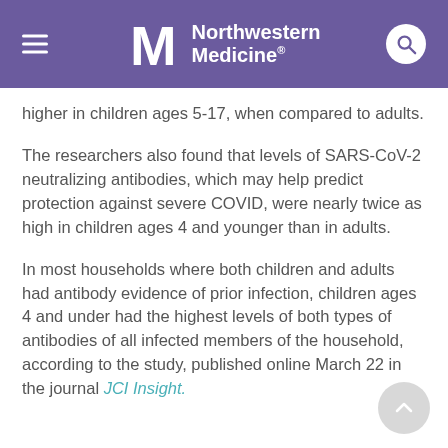Northwestern Medicine
higher in children ages 5-17, when compared to adults.
The researchers also found that levels of SARS-CoV-2 neutralizing antibodies, which may help predict protection against severe COVID, were nearly twice as high in children ages 4 and younger than in adults.
In most households where both children and adults had antibody evidence of prior infection, children ages 4 and under had the highest levels of both types of antibodies of all infected members of the household, according to the study, published online March 22 in the journal JCI Insight.